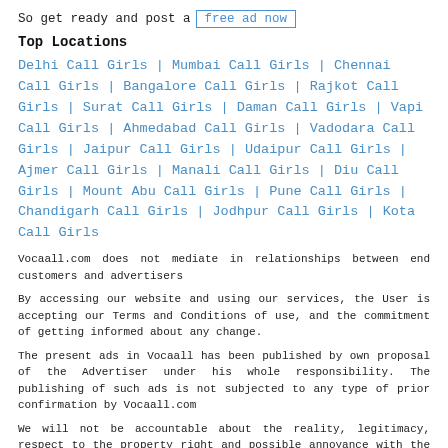So get ready and post a [free ad now]
Top Locations
Delhi Call Girls | Mumbai Call Girls | Chennai Call Girls | Bangalore Call Girls | Rajkot Call Girls | Surat Call Girls | Daman Call Girls | Vapi Call Girls | Ahmedabad Call Girls | Vadodara Call Girls | Jaipur Call Girls | Udaipur Call Girls | Ajmer Call Girls | Manali Call Girls | Diu Call Girls | Mount Abu Call Girls | Pune Call Girls | Chandigarh Call Girls | Jodhpur Call Girls | Kota Call Girls
Vocaall.com does not mediate in relationships between end customers and advertisers
By accessing our website and using our services, the User is accepting our Terms and Conditions of use, and the commitment of getting informed about any change.
The present ads in Vocaall has been published by own proposal of the Advertiser under his whole responsibility. The publishing of such ads is not subjected to any type of prior confirmation by Vocaall.com
We will not be accountable about the reality, legitimacy, respect to the property right and possible annoyance with the public or ethical order of the online filling entered by the user under any condition.
We offer magazine and website navigation services of free Internet Ads. Vocaall does not introduce or intercede between the User who posts the ad and the User who publishes the content and the